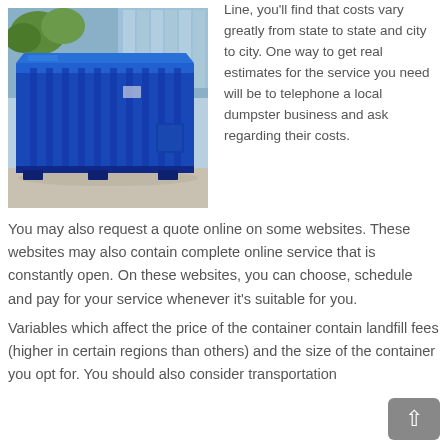[Figure (photo): A large blue roll-off dumpster/container photographed from the side, outdoors on a concrete surface, with a light blue building in the background.]
Line, you'll find that costs vary greatly from state to state and city to city. One way to get real estimates for the service you need will be to telephone a local dumpster business and ask regarding their costs. You may also request a quote online on some websites. These websites may also contain complete online service that is constantly open. On these websites, you can choose, schedule and pay for your service whenever it's suitable for you.
Variables which affect the price of the container contain landfill fees (higher in certain regions than others) and the size of the container you opt for. You should also consider transportation